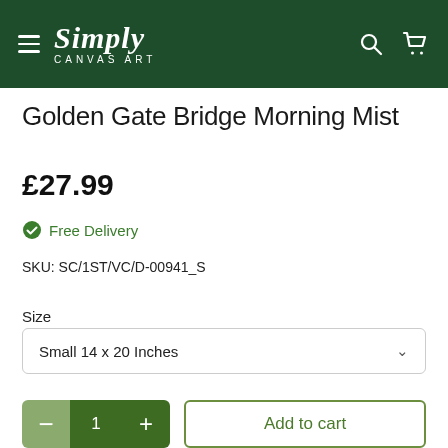[Figure (logo): Simply Canvas Art logo with hamburger menu on dark green header background with search and cart icons]
Golden Gate Bridge Morning Mist
£27.99
Free Delivery
SKU: SC/1ST/VC/D-00941_S
Size
Small 14 x 20 Inches
1
Add to cart